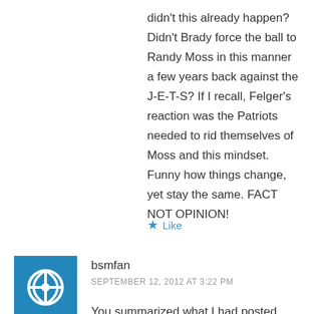didn't this already happen? Didn't Brady force the ball to Randy Moss in this manner a few years back against the J-E-T-S? If I recall, Felger's reaction was the Patriots needed to rid themselves of Moss and this mindset. Funny how things change, yet stay the same. FACT NOT OPINION!
★ Like
bsmfan
SEPTEMBER 12, 2012 AT 3:22 PM
You summarized what I had posted